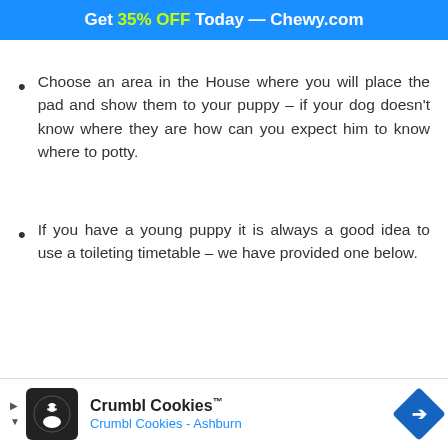Get 35% OFF Today — Chewy.com
Choose an area in the House where you will place the pad and show them to your puppy – if your dog doesn't know where they are how can you expect him to know where to potty.
If you have a young puppy it is always a good idea to use a toileting timetable – we have provided one below.
[Figure (screenshot): Advertisement banner for Crumbl Cookies – Ashburn, showing logo, brand name with trademark symbol, location subtitle in blue, and a blue diamond navigation arrow on the right.]